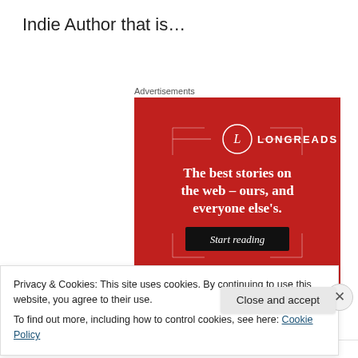Indie Author that is…
Advertisements
[Figure (illustration): Longreads advertisement banner: red background with white circle logo containing 'L', text 'LONGREADS', decorative border lines, large white serif text 'The best stories on the web – ours, and everyone else's.', black button with italic text 'Start reading']
Privacy & Cookies: This site uses cookies. By continuing to use this website, you agree to their use.
To find out more, including how to control cookies, see here: Cookie Policy